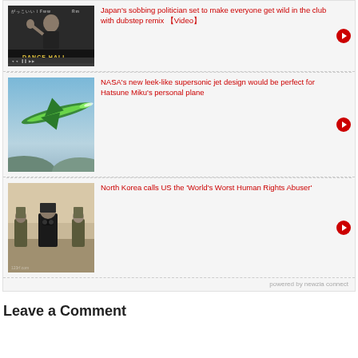[Figure (screenshot): News widget with three articles, each with a thumbnail image and red headline text, and a 'powered by newzia connect' footer]
Japan's sobbing politician set to make everyone get wild in the club with dubstep remix [Video]
NASA's new leek-like supersonic jet design would be perfect for Hatsune Miku's personal plane
North Korea calls US the 'World's Worst Human Rights Abuser'
powered by newzia connect
Leave a Comment